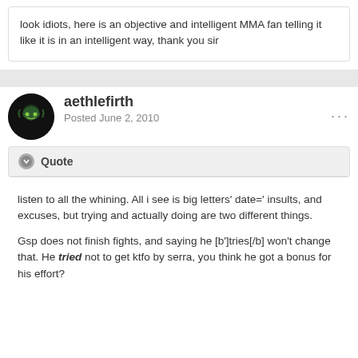look idiots, here is an objective and intelligent MMA fan telling it like it is in an intelligent way, thank you sir
aethlefirth
Posted June 2, 2010
Quote
listen to all the whining. All i see is big letters' date=' insults, and excuses, but trying and actually doing are two different things.

Gsp does not finish fights, and saying he [b']tries[/b] won't change that. He tried not to get ktfo by serra, you think he got a bonus for his effort?